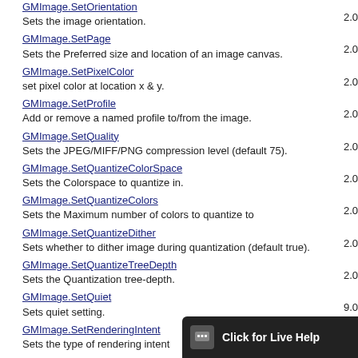GMImage.SetOrientation
Sets the image orientation.
2.0
GMImage.SetPage
Sets the Preferred size and location of an image canvas.
2.0
GMImage.SetPixelColor
set pixel color at location x & y.
2.0
GMImage.SetProfile
Add or remove a named profile to/from the image.
2.0
GMImage.SetQuality
Sets the JPEG/MIFF/PNG compression level (default 75).
2.0
GMImage.SetQuantizeColorSpace
Sets the Colorspace to quantize in.
2.0
GMImage.SetQuantizeColors
Sets the Maximum number of colors to quantize to
2.0
GMImage.SetQuantizeDither
Sets whether to dither image during quantization (default true).
2.0
GMImage.SetQuantizeTreeDepth
Sets the Quantization tree-depth.
2.0
GMImage.SetQuiet
Sets quiet setting.
9.0
GMImage.SetRenderingIntent
Sets the type of rendering intent
2.0
GMImage.SetResolutionUnits
Sets which units are used for image resolution.
2.0